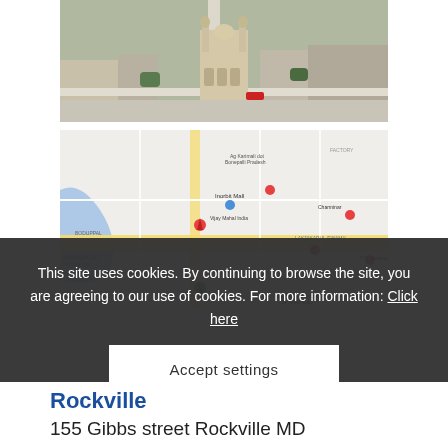[Figure (photo): Aerial photograph of a city with a prominent historic monument/tower (Charminar, Hyderabad) at center, surrounded by dense urban buildings]
[Figure (map): Google Maps screenshot showing the area around the monument with street labels, pins, and a blue water body on the left]
This site uses cookies. By continuing to browse the site, you are agreeing to our use of cookies. For more information: Click here
Accept settings
Rockville
155 Gibbs street Rockville MD